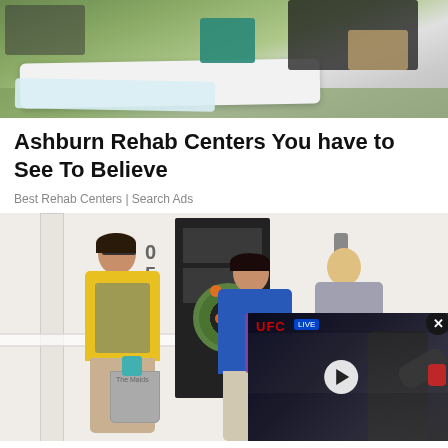[Figure (photo): Photo of clothing/laundry items laid out on grass — various colored garments including white, teal, black items]
Ashburn Rehab Centers You have to See To Believe
Best Rehab Centers | Search Ads
[Figure (photo): Photo of maids/cleaning service workers in yellow and blue uniforms standing in front of a house with a flower wreath on the door, holding cleaning buckets and supplies. Overlaid video thumbnail showing UFC fighter raising hand in victory.]
Here's How Much Ashburn Maids Charge To